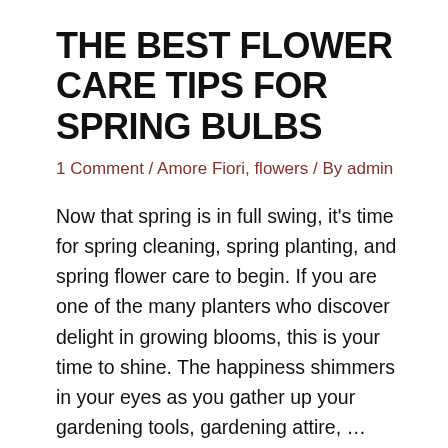THE BEST FLOWER CARE TIPS FOR SPRING BULBS
1 Comment / Amore Fiori, flowers / By admin
Now that spring is in full swing, it's time for spring cleaning, spring planting, and spring flower care to begin. If you are one of the many planters who discover delight in growing blooms, this is your time to shine. The happiness shimmers in your eyes as you gather up your gardening tools, gardening attire, …
Read More »
GIFT THE BEST ANNIVERSARY